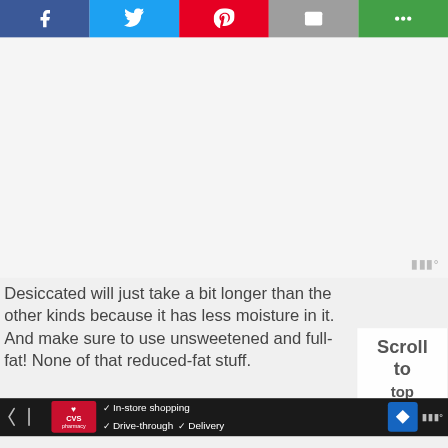[Figure (screenshot): Social media share bar with Facebook (blue), Twitter (light blue), Pinterest (red), Email (gray), and More (green) buttons with white icons]
[Figure (screenshot): Large white/light gray content area (advertisement or image placeholder)]
Desiccated will just take a bit longer than the other kinds because it has less moisture in it. And make sure to use unsweetened and full-fat! None of that reduced-fat stuff.
[Figure (screenshot): Scroll to top overlay button with text 'Scroll to top']
[Figure (screenshot): CVS Pharmacy advertisement bar at the bottom showing In-store shopping, Drive-through, and Delivery options with a blue navigation arrow icon and metrics icon]